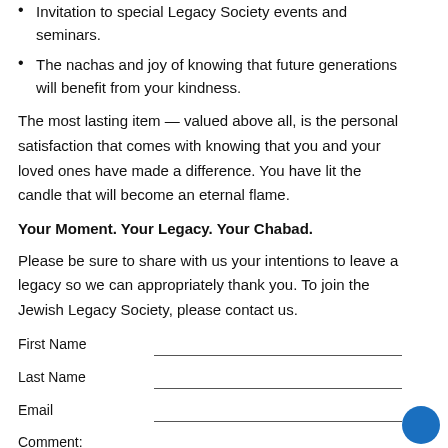Invitation to special Legacy Society events and seminars.
The nachas and joy of knowing that future generations will benefit from your kindness.
The most lasting item — valued above all, is the personal satisfaction that comes with knowing that you and your loved ones have made a difference. You have lit the candle that will become an eternal flame.
Your Moment. Your Legacy. Your Chabad.
Please be sure to share with us your intentions to leave a legacy so we can appropriately thank you. To join the Jewish Legacy Society, please contact us.
| First Name |  |
| --- | --- |
| Last Name |  |
| Email |  |
| Comment: |  |
[Figure (other): Blue circle button in bottom right corner]